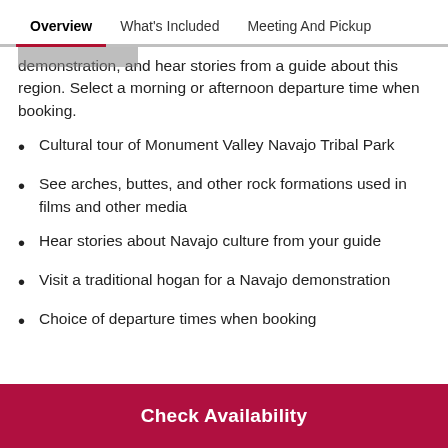Overview  What's Included  Meeting And Pickup
demonstration, and hear stories from a guide about this region. Select a morning or afternoon departure time when booking.
Cultural tour of Monument Valley Navajo Tribal Park
See arches, buttes, and other rock formations used in films and other media
Hear stories about Navajo culture from your guide
Visit a traditional hogan for a Navajo demonstration
Choice of departure times when booking
Check Availability